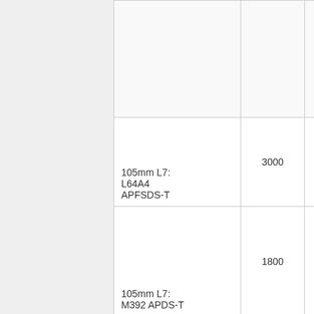| Ammunition | Range (m) | Penetration (mm) |
| --- | --- | --- |
|  |  |  |
| 105mm L7: L64A4 APFSDS-T | 3000 | 410 |
| 105mm L7: M392 APDS-T | 1800 | 270 |
| 105mm L7: M728 APDS-T | 2500 | 300 |